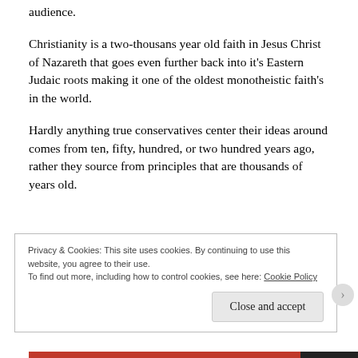audience.
Christianity is a two-thousans year old faith in Jesus Christ of Nazareth that goes even further back into it's Eastern Judaic roots making it one of the oldest monotheistic faith's in the world.
Hardly anything true conservatives center their ideas around comes from ten, fifty, hundred, or two hundred years ago, rather they source from principles that are thousands of years old.
Privacy & Cookies: This site uses cookies. By continuing to use this website, you agree to their use.
To find out more, including how to control cookies, see here: Cookie Policy
Close and accept